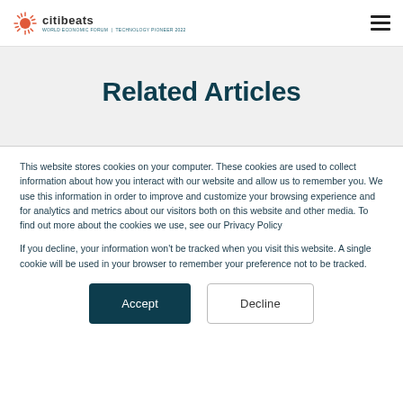citibeats | WORLD ECONOMIC FORUM TECHNOLOGY PIONEER 2022
Related Articles
This website stores cookies on your computer. These cookies are used to collect information about how you interact with our website and allow us to remember you. We use this information in order to improve and customize your browsing experience and for analytics and metrics about our visitors both on this website and other media. To find out more about the cookies we use, see our Privacy Policy
If you decline, your information won't be tracked when you visit this website. A single cookie will be used in your browser to remember your preference not to be tracked.
Accept   Decline